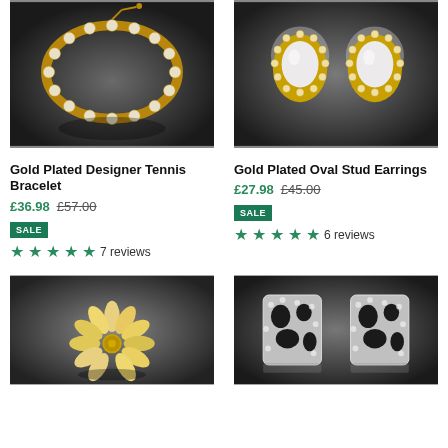[Figure (photo): Gold plated tennis bracelet with crystal stones on dark background]
[Figure (photo): Gold plated oval stud earrings with large crystal stones on dark background]
Gold Plated Designer Tennis Bracelet
£36.98  £57.00  SALE  ★★★★★ 7 reviews
Gold Plated Oval Stud Earrings
£27.98  £45.00  SALE  ★★★★★ 6 reviews
[Figure (photo): Gold flower stud earrings with marquise crystal stones on dark background]
[Figure (photo): Black and white crystal pattern stud earrings on dark background]